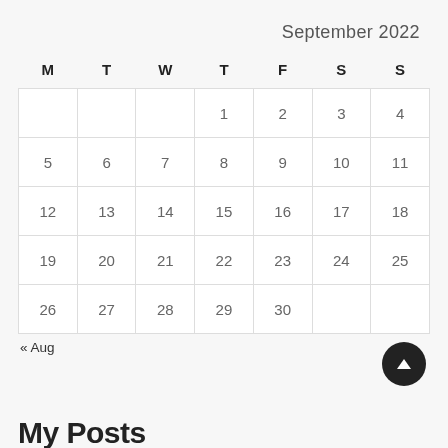September 2022
| M | T | W | T | F | S | S |
| --- | --- | --- | --- | --- | --- | --- |
|  |  |  | 1 | 2 | 3 | 4 |
| 5 | 6 | 7 | 8 | 9 | 10 | 11 |
| 12 | 13 | 14 | 15 | 16 | 17 | 18 |
| 19 | 20 | 21 | 22 | 23 | 24 | 25 |
| 26 | 27 | 28 | 29 | 30 |  |  |
« Aug
My Posts